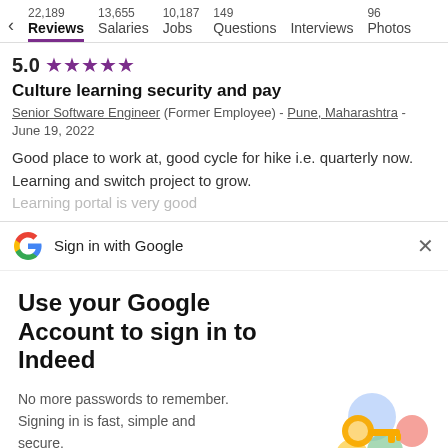22,189 Reviews | 13,655 Salaries | 10,187 Jobs | 149 Questions | Interviews | 96 Photos
5.0 ★★★★★
Culture learning security and pay
Senior Software Engineer (Former Employee) - Pune, Maharashtra - June 19, 2022
Good place to work at, good cycle for hike i.e. quarterly now. Learning and switch project to grow. Learning portal is very good
[Figure (screenshot): Sign in with Google banner with Google G logo and X close button]
Use your Google Account to sign in to Indeed
No more passwords to remember. Signing in is fast, simple and secure.
[Figure (illustration): Google sign-in key illustration with colorful circles and a golden key]
Continue